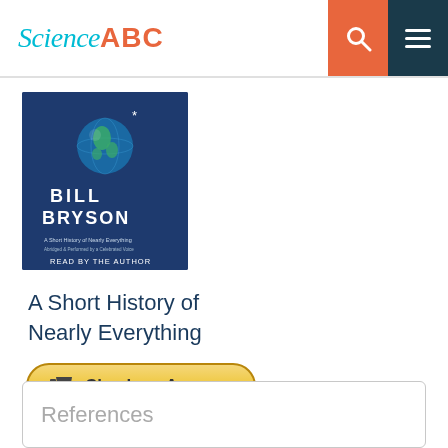Science ABC
[Figure (illustration): Book cover of 'A Short History of Nearly Everything' by Bill Bryson, audiobook edition read by the author. Dark navy blue cover with image of Earth globe and large text BILL BRYSON.]
A Short History of Nearly Everything
Check on Amazon
References